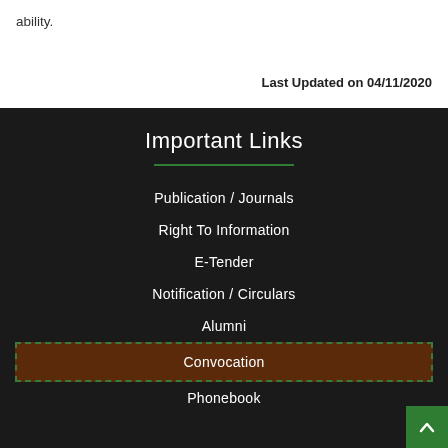ability.
Last Updated on 04/11/2020
Important Links
Publication / Journals
Right To Information
E-Tender
Notification / Circulars
Alumni
Convocation
Phonebook